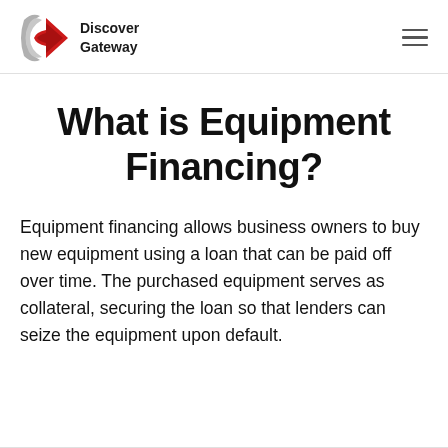Discover Gateway
What is Equipment Financing?
Equipment financing allows business owners to buy new equipment using a loan that can be paid off over time. The purchased equipment serves as collateral, securing the loan so that lenders can seize the equipment upon default.